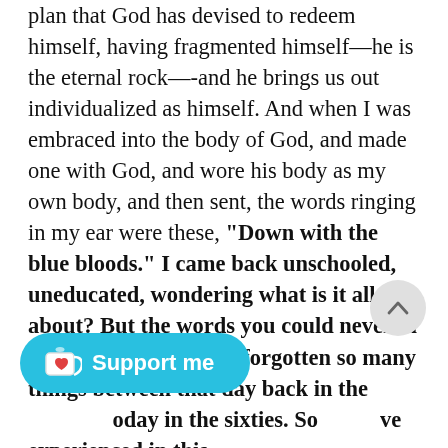plan that God has devised to redeem himself, having fragmented himself—he is the eternal rock—-and he brings us out individualized as himself. And when I was embraced into the body of God, and made one with God, and wore his body as my own body, and then sent, the words ringing in my ear were these, "Down with the blue bloods." I came back unschooled, uneducated, wondering what is it all about? But the words you could never in eternity forget. I have forgotten so many things between that day back in the [...]oday in the sixties. So [...] ve experienced in this [...]
[Figure (other): Circular scroll-to-top button with upward arrow, light gray background]
[Figure (other): Support me button: cyan/teal rounded pill button with Ko-fi cup icon and heart, white text reading 'Support me']